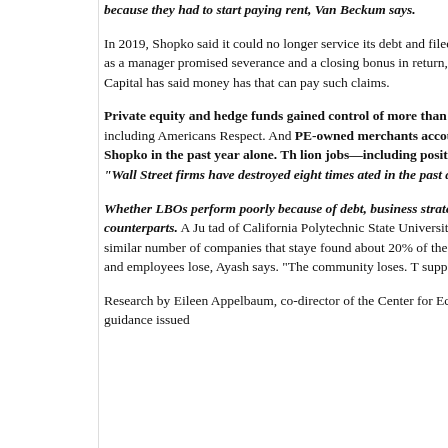because they had to start paying rent, Van Beckum says.
In 2019, Shopko said it could no longer service its debt and filed for ban... more than 360 stores. Van Beckum was asked to stay on as a manager... promised severance and a closing bonus in return, she says. Weeks late... her severance claim wouldn't be paid. Sun Capital has said money has ... that can pay such claims.
Private equity and hedge funds gained control of more than 80 reta... July report by a group of progressive organizations including Americans... Respect. And PE-owned merchants account for most of the biggest... those of Gymboree, Payless, and Shopko in the past year alone. Th... lion jobs—including positions at retailers and related jobs, such as... which estimates that "Wall Street firms have destroyed eight times... ated in the past decade."
Whether LBOs perform poorly because of debt, business strategy,... research shows they fare worse than their public counterparts. A Ju... tad of California Polytechnic State University examined almost 500 comp... It followed both the LBOs and a similar number of companies that staye... found about 20% of the PE-owned companies filed for bankruptcy—10 t... Pile on debt, and employees lose, Ayash says. "The community loses. T... support the employees." Who wins? "The funds do."
Research by Eileen Appelbaum, co-director of the Center for Economic a... isn't leverage per se but too much of it. She points to guidance issued...